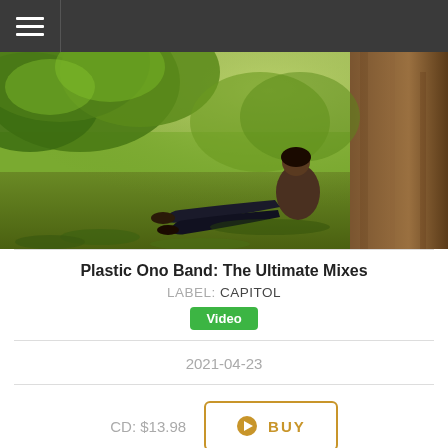☰ (navigation menu)
[Figure (photo): A person leaning against a large tree trunk in a lush green park or forest setting, sitting on grass with legs extended. Sunlight filters through the green tree canopy above.]
Plastic Ono Band: The Ultimate Mixes
LABEL: CAPITOL
Video
2021-04-23
CD: $13.98
BUY